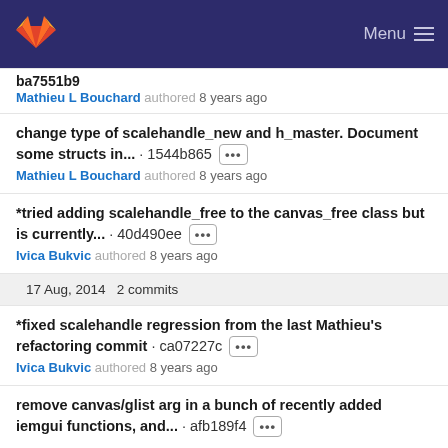GitLab — Menu
ba7551b9
Mathieu L Bouchard authored 8 years ago
change type of scalehandle_new and h_master. Document some structs in... · 1544b865 •••
Mathieu L Bouchard authored 8 years ago
*tried adding scalehandle_free to the canvas_free class but is currently... · 40d490ee •••
Ivica Bukvic authored 8 years ago
17 Aug, 2014 2 commits
*fixed scalehandle regression from the last Mathieu's refactoring commit · ca07227c •••
Ivica Bukvic authored 8 years ago
remove canvas/glist arg in a bunch of recently added iemgui functions, and... · afb189f4 •••